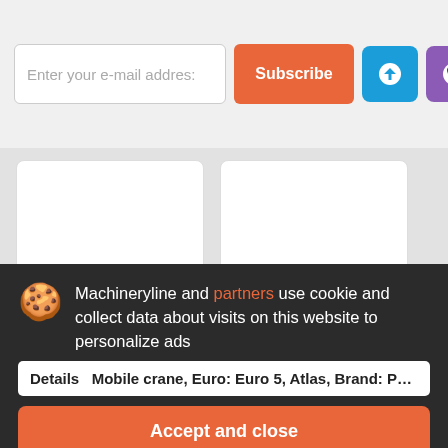Enter your e-mail address
Subscribe
[Figure (screenshot): Two product listing cards with white background]
SANY SA
price on request
Machineryline and partners use cookie and collect data about visits on this website to personalize ads
Details
Mobile crane, Euro: Euro 5, Atlas, Brand: Palfinger Sany, Model: SAC 400E, Boom extension: 50 m, Speed: 80 km/h
Accept and close